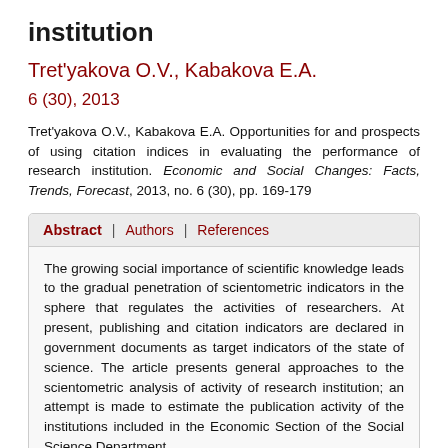institution
Tret'yakova O.V., Kabakova E.A.
6 (30), 2013
Tret'yakova O.V., Kabakova E.A. Opportunities for and prospects of using citation indices in evaluating the performance of research institution. Economic and Social Changes: Facts, Trends, Forecast, 2013, no. 6 (30), pp. 169-179
Abstract | Authors | References
The growing social importance of scientific knowledge leads to the gradual penetration of scientometric indicators in the sphere that regulates the activities of researchers. At present, publishing and citation indicators are declared in government documents as target indicators of the state of science. The article presents general approaches to the scientometric analysis of activity of research institution; an attempt is made to estimate the publication activity of the institutions included in the Economic Section of the Social Science Department...